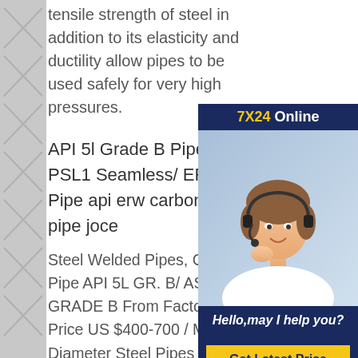tensile strength of steel in addition to its elasticity and ductility allow pipes to be used safely for very high pressures.
API 5l Grade B Pipe Gr. B PSL1 Seamless/ ERW Pipe api erw carbon steel pipe joce
Steel Welded Pipes, Carbon Steel Pipe API 5L GR. B/ ASTM A GRADE B From Factory Direct Sa Price US $400-700 / Metric Ton; 3 Diameter Steel Pipes 5L grade X42 PSL1 ERW Welded Mild Steel Pipes FOB Price US $1-630 / Ton; Large diameter A53/ A106/ 5l grade b Sch40 ERW Carbon Steel Pipe FOB Price US $500-1000 / TonAPI 5l Pipe suppliers API Steel PipeAPI 5L X52 |API 5L api erw carbon
[Figure (illustration): Customer service chat widget showing a woman with headset, '7X24 Online' header in dark blue with yellow text, 'Hello, may I help you?' message, and 'Get Latest Price' button]